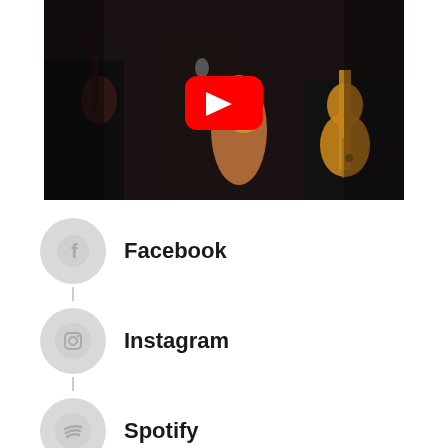[Figure (screenshot): YouTube video thumbnail showing a performer singing into a microphone with a tattooed arm visible, and guitars in background. Large YouTube play button overlay in center.]
Facebook
Instagram
Spotify
Youtube